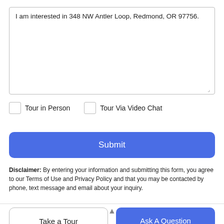I am interested in 348 NW Antler Loop, Redmond, OR 97756.
Tour in Person
Tour Via Video Chat
Submit
Disclaimer: By entering your information and submitting this form, you agree to our Terms of Use and Privacy Policy and that you may be contacted by phone, text message and email about your inquiry.
Take a Tour
Ask A Question